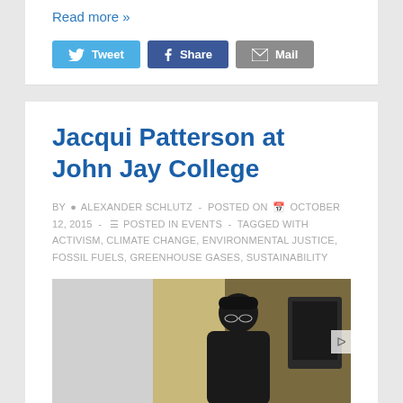Read more »
[Figure (screenshot): Social sharing buttons: Tweet (blue), Share (dark blue Facebook), Mail (grey)]
Jacqui Patterson at John Jay College
BY ALEXANDER SCHLUTZ - POSTED ON OCTOBER 12, 2015 - POSTED IN EVENTS - TAGGED WITH ACTIVISM, CLIMATE CHANGE, ENVIRONMENTAL JUSTICE, FOSSIL FUELS, GREENHOUSE GASES, SUSTAINABILITY
[Figure (photo): A person seated at a desk or table, wearing a dark hat and glasses, partially visible on the right side of the image. Left portion is light grey background.]